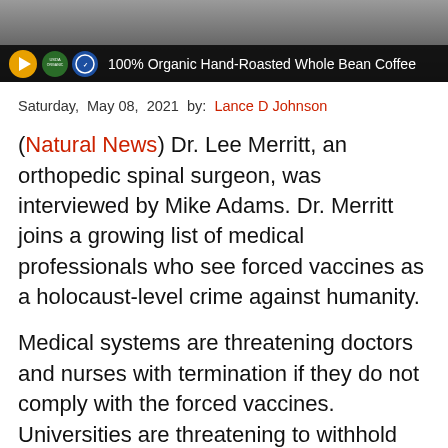[Figure (photo): Banner image with dark background showing a coffee product advertisement bar at bottom reading '100% Organic Hand-Roasted Whole Bean Coffee' with organic certification logos]
Saturday, May 08, 2021 by: Lance D Johnson
(Natural News) Dr. Lee Merritt, an orthopedic spinal surgeon, was interviewed by Mike Adams. Dr. Merritt joins a growing list of medical professionals who see forced vaccines as a holocaust-level crime against humanity.
Medical systems are threatening doctors and nurses with termination if they do not comply with the forced vaccines. Universities are threatening to withhold education from students if they do not comply. Corporations are threatening to segregate people from venues, flights and other social gatherings if they do not